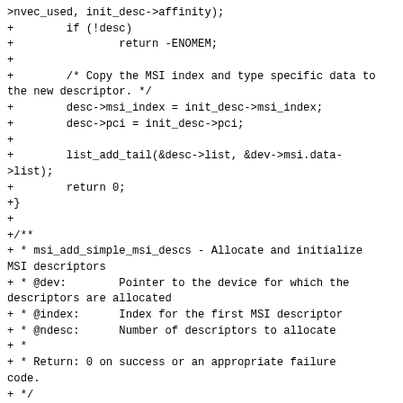>nvec_used, init_desc->affinity);
+        if (!desc)
+                return -ENOMEM;
+
+        /* Copy the MSI index and type specific data to the new descriptor. */
+        desc->msi_index = init_desc->msi_index;
+        desc->pci = init_desc->pci;
+
+        list_add_tail(&desc->list, &dev->msi.data->list);
+        return 0;
+}
+
+/**
+ * msi_add_simple_msi_descs - Allocate and initialize MSI descriptors
+ * @dev:        Pointer to the device for which the descriptors are allocated
+ * @index:      Index for the first MSI descriptor
+ * @ndesc:      Number of descriptors to allocate
+ *
+ * Return: 0 on success or an appropriate failure code.
+ */
+static int msi_add_simple_msi_descs(struct device *dev, unsigned int index, unsigned int ndesc)
+{
+        struct msi_desc *desc, *tmp;
+        LIST_HEAD(list);